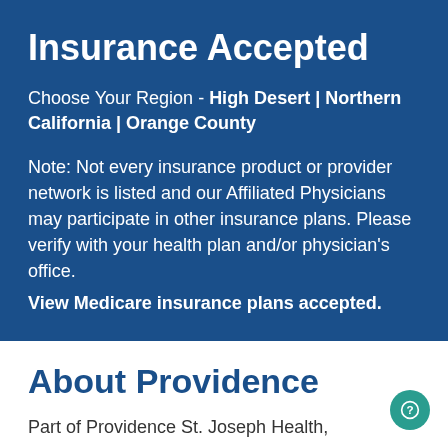Insurance Accepted
Choose Your Region - High Desert | Northern California | Orange County
Note: Not every insurance product or provider network is listed and our Affiliated Physicians may participate in other insurance plans. Please verify with your health plan and/or physician's office. View Medicare insurance plans accepted.
About Providence
Part of Providence St. Joseph Health,